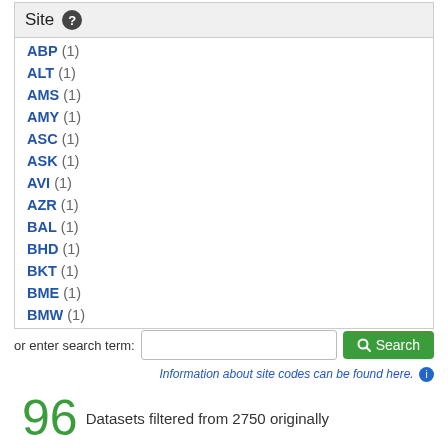Site ❓
ABP (1)
ALT (1)
AMS (1)
AMY (1)
ASC (1)
ASK (1)
AVI (1)
AZR (1)
BAL (1)
BHD (1)
BKT (1)
BME (1)
BMW (1)
or enter search term:
Information about site codes can be found here. ℹ
96 Datasets filtered from 2750 originally